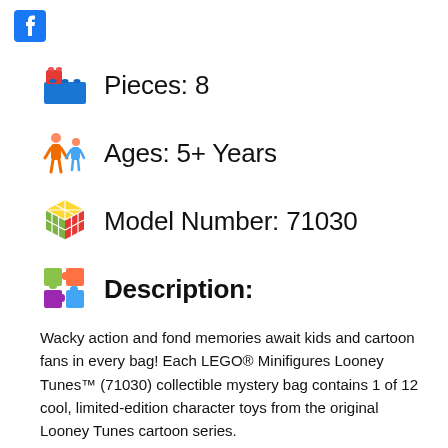[Figure (logo): Facebook logo icon (blue square with white f)]
Pieces: 8
Ages: 5+ Years
Model Number: 71030
Description:
Wacky action and fond memories await kids and cartoon fans in every bag! Each LEGO® Minifigures Looney Tunes™ (71030) collectible mystery bag contains 1 of 12 cool, limited-edition character toys from the original Looney Tunes cartoon series.
Awesome toy character lineup.